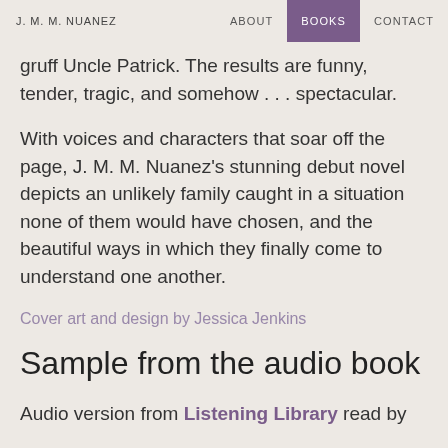J. M. M. NUANEZ   ABOUT   BOOKS   CONTACT
gruff Uncle Patrick. The results are funny, tender, tragic, and somehow . . . spectacular.
With voices and characters that soar off the page, J. M. M. Nuanez’s stunning debut novel depicts an unlikely family caught in a situation none of them would have chosen, and the beautiful ways in which they finally come to understand one another.
Cover art and design by Jessica Jenkins
Sample from the audio book
Audio version from Listening Library read by